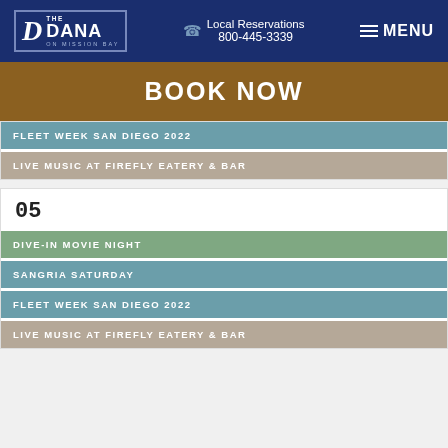THE DANA ON MISSION BAY | Local Reservations 800-445-3339 | MENU
BOOK NOW
FLEET WEEK SAN DIEGO 2022
LIVE MUSIC AT FIREFLY EATERY & BAR
05
DIVE-IN MOVIE NIGHT
SANGRIA SATURDAY
FLEET WEEK SAN DIEGO 2022
LIVE MUSIC AT FIREFLY EATERY & BAR